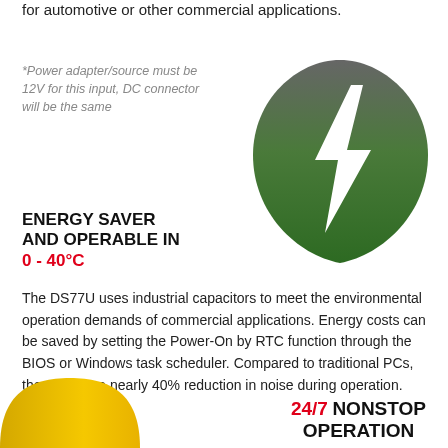for automotive or other commercial applications.
*Power adapter/source must be 12V for this input, DC connector will be the same
[Figure (illustration): Green leaf icon with a white lightning bolt, representing energy saving]
ENERGY SAVER AND OPERABLE IN 0 - 40°C
The DS77U uses industrial capacitors to meet the environmental operation demands of commercial applications. Energy costs can be saved by setting the Power-On by RTC function through the BIOS or Windows task scheduler. Compared to traditional PCs, the unit has a nearly 40% reduction in noise during operation.
[Figure (illustration): Yellow/gold arc shape at bottom left corner]
24/7 NONSTOP OPERATION